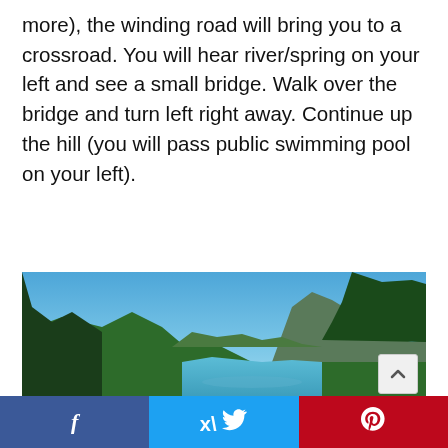more), the winding road will bring you to a crossroad. You will hear river/spring on your left and see a small bridge. Walk over the bridge and turn left right away. Continue up the hill (you will pass public swimming pool on your left).
[Figure (photo): Scenic outdoor landscape photograph showing a winding river or lake between forested mountains under a clear blue sky, with tall pine trees in the foreground and a rocky peak visible on the right.]
f  [share on Facebook]   [tweet on Twitter]   p [share on Pinterest]